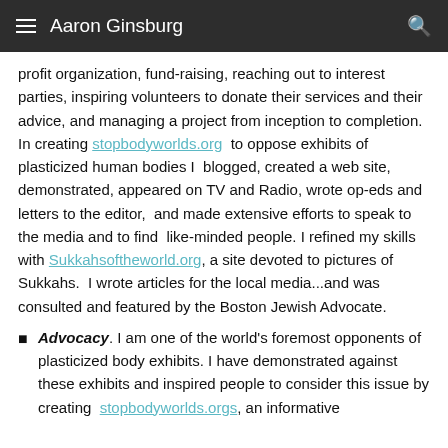Aaron Ginsburg
profit organization, fund-raising, reaching out to interest parties, inspiring volunteers to donate their services and their advice, and managing a project from inception to completion.  In creating stopbodyworlds.org  to oppose exhibits of plasticized human bodies I  blogged, created a web site, demonstrated, appeared on TV and Radio, wrote op-eds and letters to the editor,  and made extensive efforts to speak to  the media and to find  like-minded people. I refined my skills with Sukkahsoftheworld.org, a site devoted to pictures of Sukkahs.  I wrote articles for the local media...and was consulted and featured by the Boston Jewish Advocate.
Advocacy. I am one of the world's foremost opponents of plasticized body exhibits. I have demonstrated against these exhibits and inspired people to consider this issue by creating  stopbodyworlds.orgs, an informative